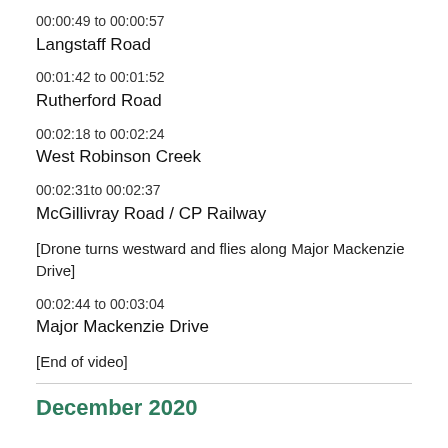00:00:49 to 00:00:57
Langstaff Road
00:01:42 to 00:01:52
Rutherford Road
00:02:18 to 00:02:24
West Robinson Creek
00:02:31to 00:02:37
McGillivray Road / CP Railway
[Drone turns westward and flies along Major Mackenzie Drive]
00:02:44 to 00:03:04
Major Mackenzie Drive
[End of video]
December 2020